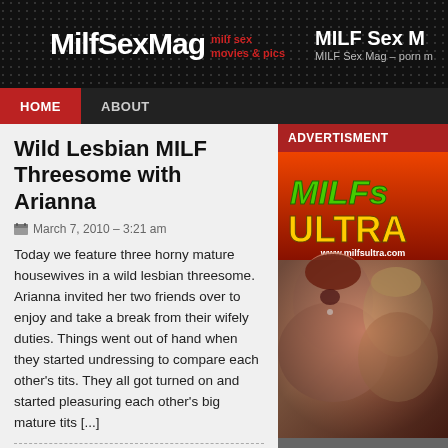MilfSexMag milf sex movies & pics | MILF Sex Mag – porn m…
Wild Lesbian MILF Threesome with Arianna
March 7, 2010 – 3:21 am
Today we feature three horny mature housewives in a wild lesbian threesome. Arianna invited her two friends over to enjoy and take a break from their wifely duties. Things went out of hand when they started undressing to compare each other's tits. They all got turned on and started pleasuring each other's big mature tits [...]
By Isaac  Posted in Busty MILF, MILF Hardcore, Milf Orgy, Movies, Movies, Movies  Comments Off on Wild
[Figure (photo): MILFs Ultra advertisement banner with logo and adult content photo]